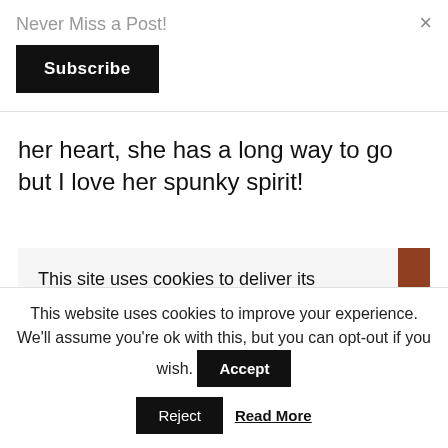Never Miss a Post!
Subscribe
×
her heart, she has a long way to go but I love her spunky spirit!
[Figure (photo): Interior photo showing staircase banister and decorative window with diamond pattern, warm wood tones]
This site uses cookies to deliver its services and to analyse traffic. By using this site, you agree to its use of cookies. Learn more
This website uses cookies to improve your experience. We'll assume you're ok with this, but you can opt-out if you wish.
Accept
Reject
Read More